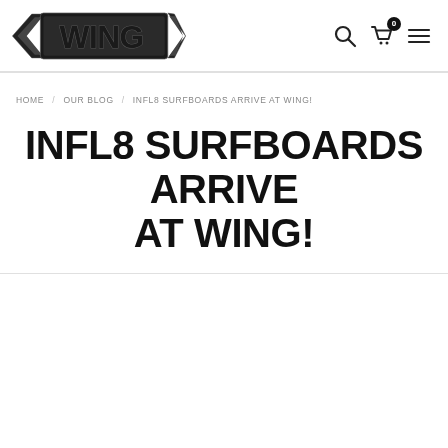[Figure (logo): WING brand logo — stylized wing with bold 'WING' lettering in black]
HOME / OUR BLOG / INFL8 SURFBOARDS ARRIVE AT WING!
INFL8 SURFBOARDS ARRIVE AT WING!